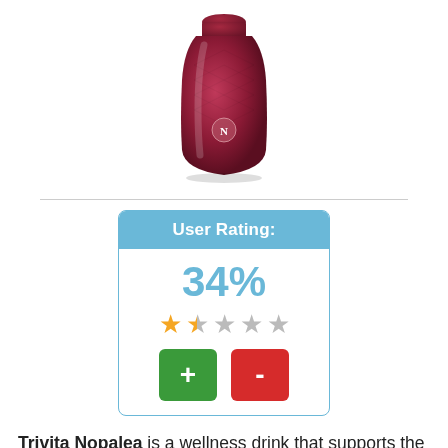[Figure (photo): Product photo of Trivita Nopalea bottle (dark pink/maroon colored bottle with N logo)]
[Figure (infographic): User Rating box showing 34%, 1.5 out of 5 stars, with green + and red - voting buttons]
Trivita Nopalea is a wellness drink that supports the body's natural anti-inflammatory processes. It is a sweet, bright pink blend of superfruits and chemicals designed to be consumed up to three times a day to improve joint comfort. Trivita Nopalea's website says that their drinks are GMO- and preservative-free and that they have anti-